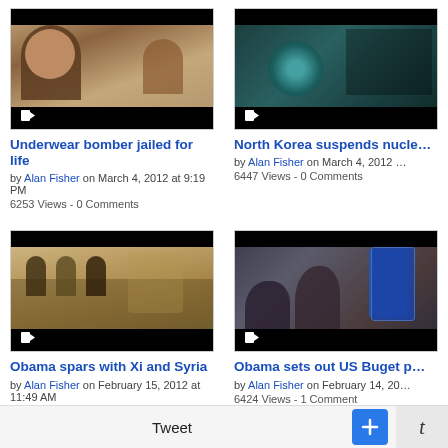[Figure (photo): Courtroom sketch showing defendant and judge]
Underwear bomber jailed for life
by Alan Fisher on March 4, 2012 at 9:19 PM
6253 Views - 0 Comments
[Figure (photo): US State Department seal on dark background]
North Korea suspends nucl…
by Alan Fisher on March 4, 2012 at …
6447 Views - 0 Comments
[Figure (photo): Obama meeting with Xi and others in the Oval Office]
Obama spars with Xi and Syria
by Alan Fisher on February 15, 2012 at 11:49 AM
6351 Views - 0 Comments
[Figure (photo): Man holding up large blue book/budget document]
Obama sets out US Buget p…
by Alan Fisher on February 14, 20…
6424 Views - 1 Comment
Tweet  +  t